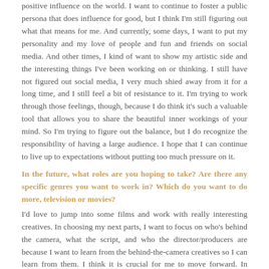positive influence on the world. I want to continue to foster a public persona that does influence for good, but I think I'm still figuring out what that means for me. And currently, some days, I want to put my personality and my love of people and fun and friends on social media. And other times, I kind of want to show my artistic side and the interesting things I've been working on or thinking. I still have not figured out social media, I very much shied away from it for a long time, and I still feel a bit of resistance to it. I'm trying to work through those feelings, though, because I do think it's such a valuable tool that allows you to share the beautiful inner workings of your mind. So I'm trying to figure out the balance, but I do recognize the responsibility of having a large audience. I hope that I can continue to live up to expectations without putting too much pressure on it.
In the future, what roles are you hoping to take? Are there any specific genres you want to work in? Which do you want to do more, television or movies?
I'd love to jump into some films and work with really interesting creatives. In choosing my next parts, I want to focus on who's behind the camera, what the script, and who the director/producers are because I want to learn from the behind-the-camera creatives so I can learn from them. I think it is crucial for me to move forward. In terms of what genres I am looking at...